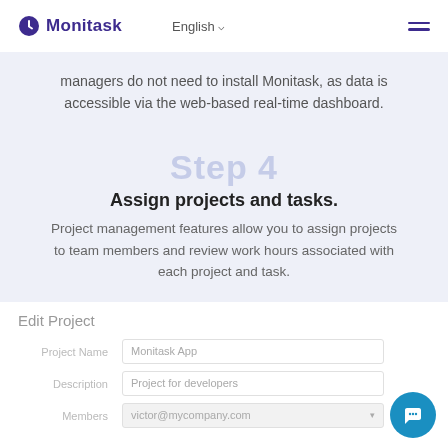Monitask  English  ☰
managers do not need to install Monitask, as data is accessible via the web-based real-time dashboard.
Step 4
Assign projects and tasks.
Project management features allow you to assign projects to team members and review work hours associated with each project and task.
[Figure (screenshot): Edit Project form showing fields: Project Name (Monitask App), Description (Project for developers), Members (victor@mycompany.com dropdown)]